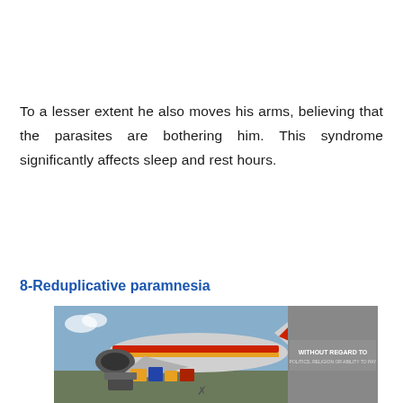To a lesser extent he also moves his arms, believing that the parasites are bothering him. This syndrome significantly affects sleep and rest hours.
8-Reduplicative paramnesia
[Figure (photo): Photo of an airplane being loaded with cargo on a tarmac, with a banner overlay reading 'WITHOUT REGARD TO POLITICS, RELIGION OR ABILITY TO PAY']